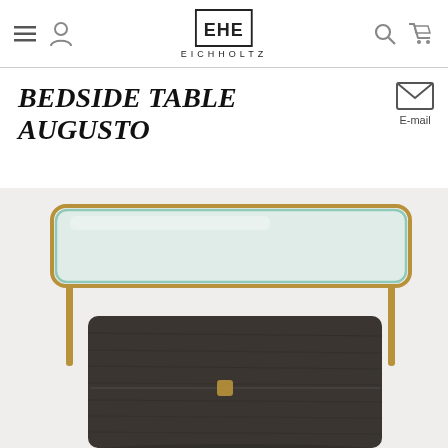EICHHOLTZ
BEDSIDE TABLE AUGUSTO
[Figure (photo): Product photo of the Bedside Table Augusto: a dark grey wood nightstand with a brass metal frame holding a clear glass top shelf. The drawer has a small brass pull handle. Shot on white background.]